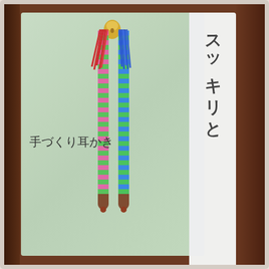[Figure (photo): Product photo of Japanese handmade ear picks (耳かき / mimikaki) with colorful rope wrapping. Two ear pick sticks are shown: one wrapped in pink and green spiral rope with red and blue tassel fringe at top, another wrapped in blue and green spiral rope. A small gold bell is visible at the top. The product is displayed on a light green card packaging with a white label strip on the right side showing Japanese text. Japanese text on the card reads スッキリと (sukkiri to) on the right label strip and 手づくり耳かき (tezukuri mimikaki / handmade ear picks) on the left side of the card.]